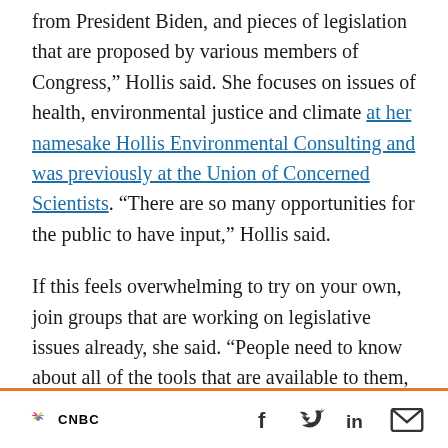from President Biden, and pieces of legislation that are proposed by various members of Congress," Hollis said. She focuses on issues of health, environmental justice and climate at her namesake Hollis Environmental Consulting and was previously at the Union of Concerned Scientists. "There are so many opportunities for the public to have input," Hollis said.

If this feels overwhelming to try on your own, join groups that are working on legislative issues already, she said. "People need to know about all of the tools that are available to them, and from that — what tools are needed and missing," she
CNBC [logo] | [Facebook] [Twitter] [LinkedIn] [Email]